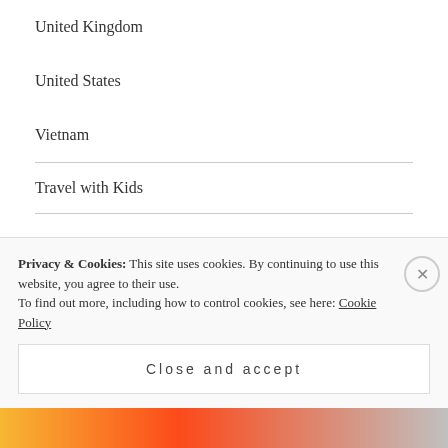United Kingdom
United States
Vietnam
TOP POSTS & PAGES
[Figure (photo): Small thumbnail image of a book cover related to Jiro Sushi]
Mrs. King Dreams of Jiro Sushi
Privacy & Cookies: This site uses cookies. By continuing to use this website, you agree to their use.
To find out more, including how to control cookies, see here: Cookie Policy
Close and accept